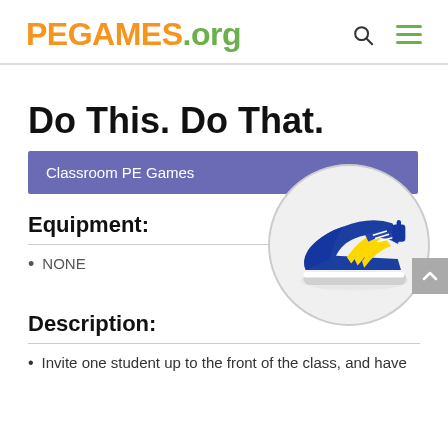PEGAMES.org
Do This. Do That.
Classroom PE Games
Equipment:
[Figure (illustration): Blue athletic sneaker/running shoe with yellow stripes, inside a circular grey-bordered frame]
NONE
Description:
Invite one student up to the front of the class, and have